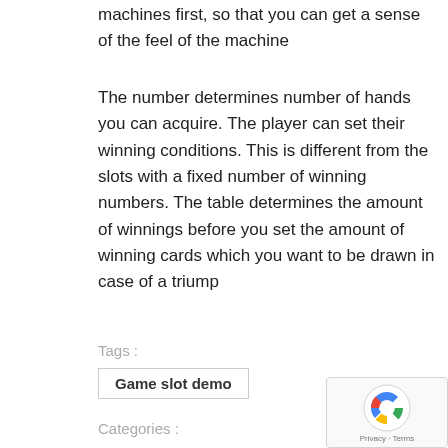machines first, so that you can get a sense of the feel of the machine
The number determines number of hands you can acquire. The player can set their winning conditions. This is different from the slots with a fixed number of winning numbers. The table determines the amount of winnings before you set the amount of winning cards which you want to be drawn in case of a triump
Tags :
Game slot demo
Categories :